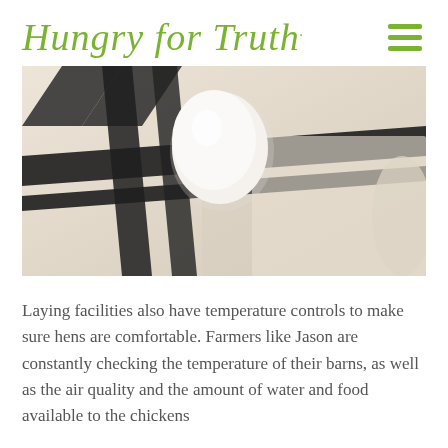Hungry for Truth
[Figure (photo): A single white egg resting on a cream and black striped fabric/cloth, photographed from above at an angle]
Laying facilities also have temperature controls to make sure hens are comfortable. Farmers like Jason are constantly checking the temperature of their barns, as well as the air quality and the amount of water and food available to the chickens